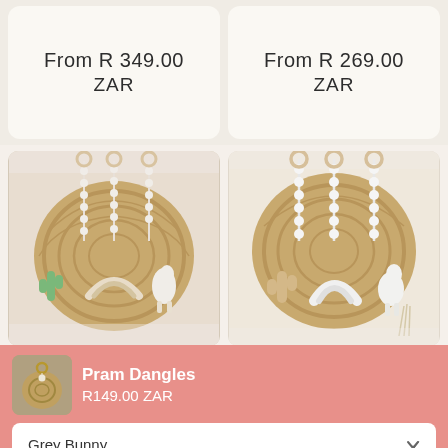From R 349.00 ZAR
From R 269.00 ZAR
[Figure (photo): Baby pram dangles set with macrame cactus, rainbow, and llama figures on woven rattan base]
[Figure (photo): Baby pram dangles set with wooden cactus, white rainbow, and other figures on woven rattan base]
Pram Dangles
R149.00 ZAR
Grey Bunny
1
Add To Cart